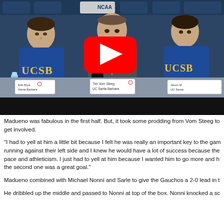[Figure (screenshot): YouTube video thumbnail showing a press conference with three people seated at a table. Two players in UCSB jerseys flank a coach in the center. NCAA championship banners are visible in the background. A red YouTube play button is overlaid in the center. Nameplates on the table identify Tim Vom Steeg, UC Santa Barbara on the center placard.]
Madueno was fabulous in the first half. But, it took some prodding from Vom Steeg to get involved.
"I had to yell at him a little bit because I felt he was really an important key to the game running against their left side and I knew he would have a lot of success because the pace and athleticism. I just had to yell at him because I wanted him to go more and h the second one was a great goal."
Madueno combined with Michael Nonni and Sarle to give the Gauchos a 2-0 lead in t
He dribbled up the middle and passed to Nonni at top of the box. Nonni knocked a sc